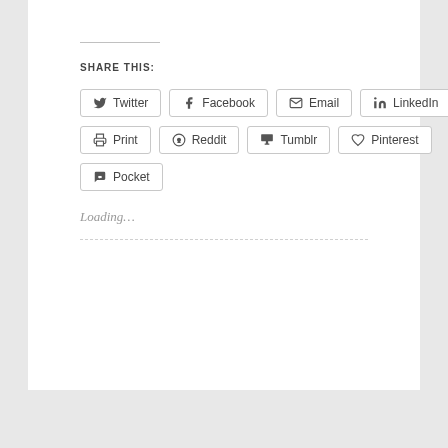SHARE THIS:
Twitter
Facebook
Email
LinkedIn
Print
Reddit
Tumblr
Pinterest
Pocket
Loading…